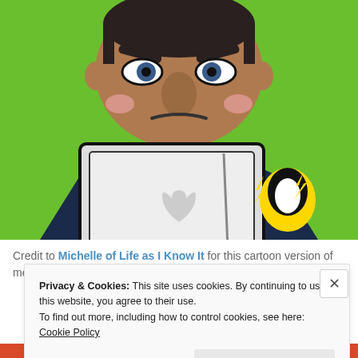[Figure (illustration): Cartoon illustration of an angry-looking man with dark hair behind a laptop computer, with a small penguin character beside him, on a green background.]
Credit to Michelle of Life as I Know It for this cartoon version of me.
Advertisements
[Figure (other): Red advertisement banner bar]
Privacy & Cookies: This site uses cookies. By continuing to use this website, you agree to their use.
To find out more, including how to control cookies, see here: Cookie Policy
Close and accept